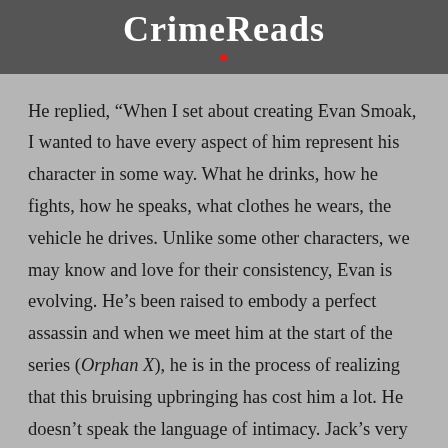CrimeReads
He replied, “When I set about creating Evan Smoak, I wanted to have every aspect of him represent his character in some way. What he drinks, how he fights, how he speaks, what clothes he wears, the vehicle he drives. Unlike some other characters, we may know and love for their consistency, Evan is evolving. He’s been raised to embody a perfect assassin and when we meet him at the start of the series (Orphan X), he is in the process of realizing that this bruising upbringing has cost him a lot. He doesn’t speak the language of intimacy. Jack’s very commandments bind him to a life of loneliness. He sucks at small talk. And while he’s